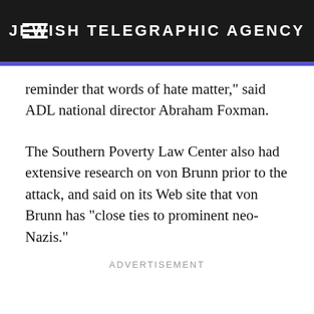JEWISH TELEGRAPHIC AGENCY
reminder that words of hate matter," said ADL national director Abraham Foxman.
The Southern Poverty Law Center also had extensive research on von Brunn prior to the attack, and said on its Web site that von Brunn has "close ties to prominent neo-Nazis."
ADVERTISEMENT